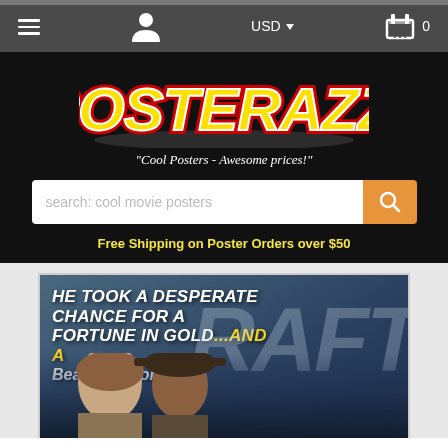[Figure (screenshot): Website navigation bar with hamburger menu, user icon, USD currency selector, and shopping cart icon showing 0 items]
[Figure (logo): POSTERAZZI logo in bold yellow text with red outline on black background, tagline: 'Cool Posters - Awesome prices!']
"Cool Posters - Awesome prices!"
search: cool movie posters
Free Shipping on Poster Orders over $50
[Figure (photo): Vintage movie poster showing two men's faces with text: HE TOOK A DESPERATE CHANCE FOR A FORTUNE IN GOLD...and a Beautiful Woman! Partial 'RAFT' text visible on right side]